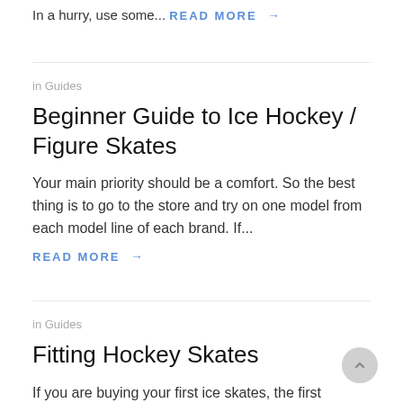In a hurry, use some...
READ MORE →
in Guides
Beginner Guide to Ice Hockey / Figure Skates
Your main priority should be a comfort. So the best thing is to go to the store and try on one model from each model line of each brand. If...
READ MORE →
in Guides
Fitting Hockey Skates
If you are buying your first ice skates, the first question you have is 'What size ice skates should I...